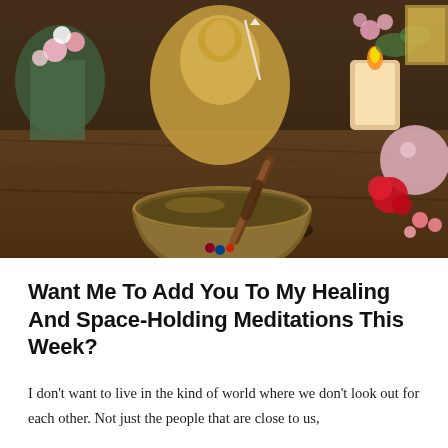[Figure (photo): A Tibetan singing bowl with a wooden mallet resting inside it, placed on a wooden surface. Behind it is a gold Buddha statue, flowers including red roses and pink blooms, a lit candle, a rose quartz crystal sphere, and other spiritual/decorative items arranged on a altar-like setting.]
Want Me To Add You To My Healing And Space-Holding Meditations This Week?
I don't want to live in the kind of world where we don't look out for each other. Not just the people that are close to us,